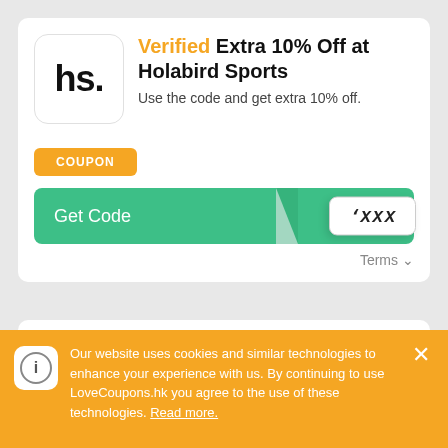[Figure (logo): hs. logo in black bold text inside a rounded white box]
Verified Extra 10% Off at Holabird Sports
Use the code and get extra 10% off.
COUPON
Get Code  XXXX
Terms
[Figure (logo): hs. logo in black bold text inside a rounded white box]
Verified Save 20% On Clothing at Holabird
Our website uses cookies and similar technologies to enhance your experience with us. By continuing to use LoveCoupons.hk you agree to the use of these technologies. Read more.